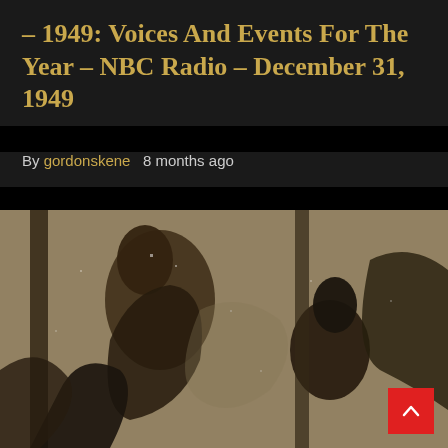– 1949: Voices And Events For The Year – NBC Radio – December 31, 1949
By gordonskene   8 months ago
[Figure (photo): Vintage black and white grainy photograph showing a figure or sculpture on the left side and a shadowy figure on the right, with dramatic contrast, reminiscent of a 1940s era image.]